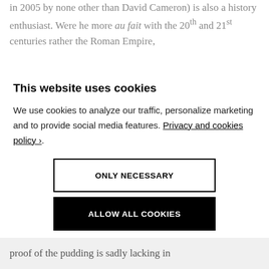in 2005 by none other than David Cameron) is also a history enthusiast. Were he more au fait with the 20th and 21st centuries rather the Roman Empire,
This website uses cookies
We use cookies to analyze our traffic, personalize marketing and to provide social media features. Privacy and cookies policy ›.
ONLY NECESSARY
ALLOW ALL COOKIES
CONFIGURE SETTINGS ›
proof of the pudding is sadly lacking in